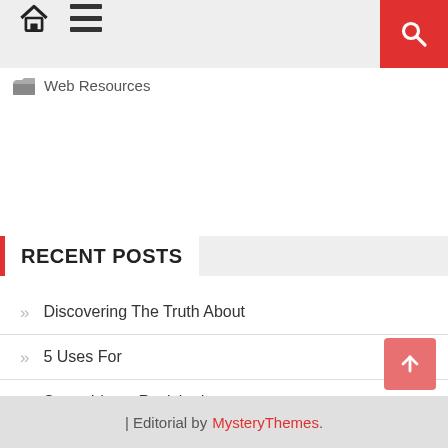[home icon] [menu icon] [search icon]
Web Resources
RECENT POSTS
Discovering The Truth About
5 Uses For
Smart Ideas: Revisited
The Beginner's Guide to
How I Became An Expert on
| Editorial by MysteryThemes.